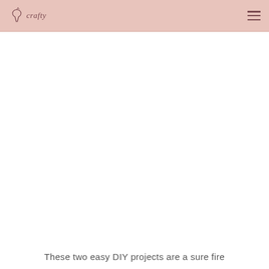crafty
These two easy DIY projects are a sure fire